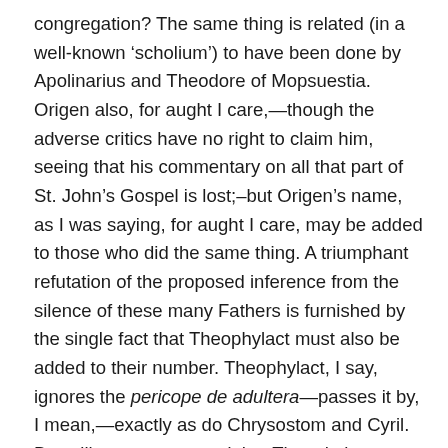congregation? The same thing is related (in a well-known 'scholium') to have been done by Apolinarius and Theodore of Mopsuestia. Origen also, for aught I care,—though the adverse critics have no right to claim him, seeing that his commentary on all that part of St. John's Gospel is lost;–but Origen's name, as I was saying, for aught I care, may be added to those who did the same thing. A triumphant refutation of the proposed inference from the silence of these many Fathers is furnished by the single fact that Theophylact must also be added to their number. Theophylact, I say, ignores the pericope de adultera—passes it by, I mean,—exactly as do Chrysostom and Cyril. But will any one pretend that Theophylact,—writing in A. D. 1o77,—did not know of St. John vii. 53-viii. 11? Why, in nineteen out of every twenty copies within his reach, the whole of those twelve verses